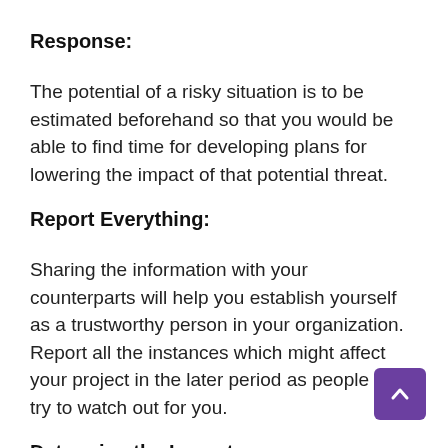Response:
The potential of a risky situation is to be estimated beforehand so that you would be able to find time for developing plans for lowering the impact of that potential threat.
Report Everything:
Sharing the information with your counterparts will help you establish yourself as a trustworthy person in your organization. Report all the instances which might affect your project in the later period as people will try to watch out for you.
Determine the Impact: